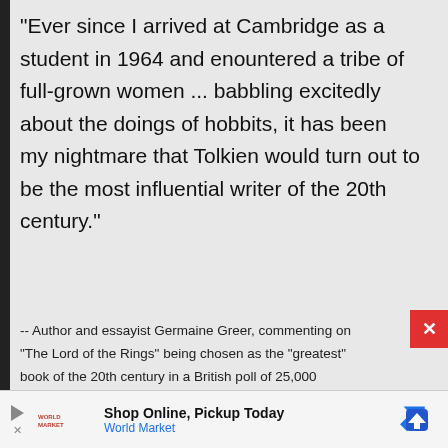"Ever since I arrived at Cambridge as a student in 1964 and enountered a tribe of full-grown women ... babbling excitedly about the doings of hobbits, it has been my nightmare that Tolkien would turn out to be the most influential writer of the 20th century."
-- Author and essayist Germaine Greer, commenting on "The Lord of the Rings" being chosen as the "greatest" book of the 20th century in a British poll of 25,000 readers. ("Fiction and food fill up our bookshelves," in
[Figure (other): Advertisement banner: Shop Online, Pickup Today - World Market, with play button icon, X close button, brand logo, and navigation arrow icon]